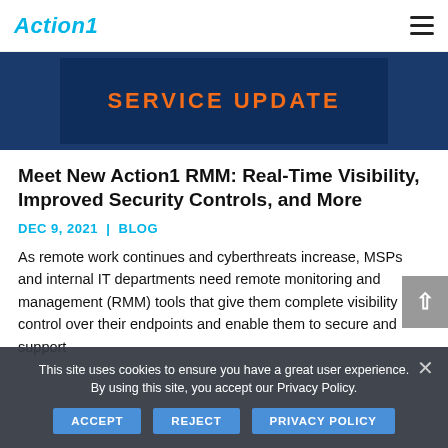Action1
[Figure (other): Dark blue banner image with orange uppercase text reading SERVICE UPDATE]
Meet New Action1 RMM: Real-Time Visibility, Improved Security Controls, and More
DEC 9, 2021  |  BLOG
As remote work continues and cyberthreats increase, MSPs and internal IT departments need remote monitoring and management (RMM) tools that give them complete visibility and control over their endpoints and enable them to secure and support
This site uses cookies to ensure you have a great user experience. By using this site, you accept our Privacy Policy.
ACCEPT
REJECT
PRIVACY POLICY